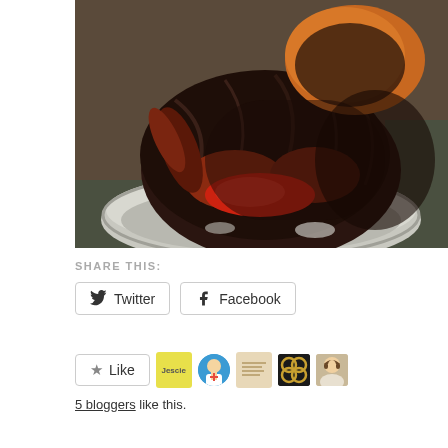[Figure (photo): A smoked or charred whole turkey resting in a large aluminum roasting pan, with a very dark, blackened skin. The bird appears heavily cooked with deep reddish-brown coloring on parts. The pan sits on a dark stone countertop.]
SHARE THIS:
Twitter  Facebook
Like
5 bloggers like this.